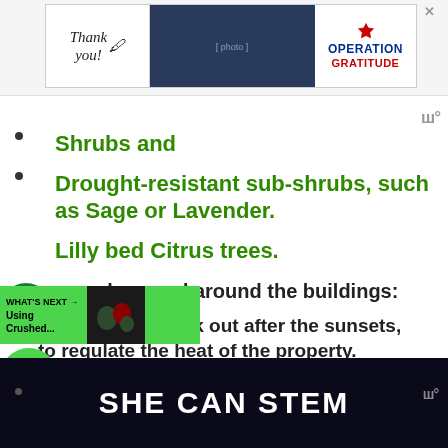[Figure (screenshot): Advertisement banner showing 'Thank You!' text with American flag pencil, group photo of people in uniform, and Operation Gratitude logo]
Shrubs and
Drought-resistant sub-shrubs, such as Sage or Lavender.
Lilly bed Citrus trees.
are also used around the buildings:
at is radiated back out after the sunsets, to regulate the heat of the property.
SHE CAN STEM